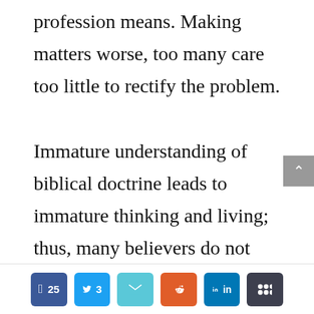profession means. Making matters worse, too many care too little to rectify the problem.

Immature understanding of biblical doctrine leads to immature thinking and living; thus, many believers do not live up to their calling in Christ to be salt and light to the world. There are numerous
[Figure (infographic): Social sharing bar with Facebook (25), Twitter (3), Email, Reddit, LinkedIn, and More buttons]